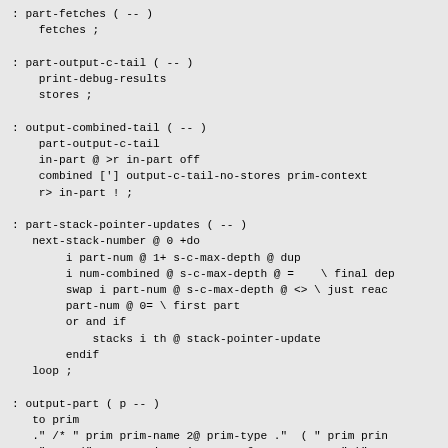: part-fetches ( -- )
    fetches ;
: part-output-c-tail ( -- )
    print-debug-results
    stores ;
: output-combined-tail ( -- )
    part-output-c-tail
    in-part @ >r in-part off
    combined ['] output-c-tail-no-stores prim-context
    r> in-part ! ;
: part-stack-pointer-updates ( -- )
   next-stack-number @ 0 +do
        i part-num @ 1+ s-c-max-depth @ dup
        i num-combined @ s-c-max-depth @ =    \ final dep
        swap i part-num @ s-c-max-depth @ <> \ just reac
        part-num @ 0= \ first part
        or and if
            stacks i th @ stack-pointer-update
        endif
   loop ;
: output-part ( p -- )
   to prim
   ." /* " prim prim-name 2@ prim-type ."  ( " prim prin
   ." NAME(" quote prim prim-name 2@ type quote ." )" cr
   ." {" cr